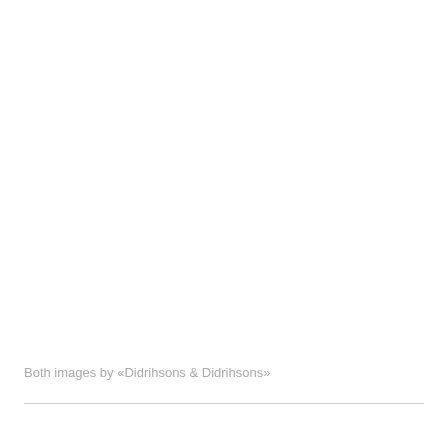Both images by «Didrihsons & Didrihsons»